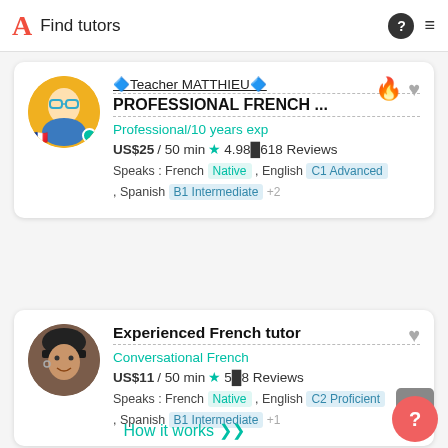A Find tutors
🔷Teacher MATTHIEU🔷
PROFESSIONAL FRENCH ...
Professional/10 years exp
US$25 / 50 min ★ 4.98 618 Reviews
Speaks : French Native , English C1 Advanced , Spanish B1 Intermediate +2
Experienced French tutor
Conversational French
US$11 / 50 min ★ 5 8 Reviews
Speaks : French Native , English C2 Proficient , Spanish B1 Intermediate +1
How it works ⌄⌄